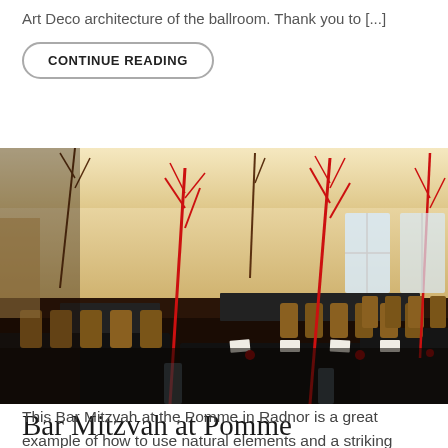Art Deco architecture of the ballroom. Thank you to [...]
CONTINUE READING
[Figure (photo): Event hall decorated for a Bar Mitzvah with black tablecloths, gold chiavari chairs, tall red branch centerpieces in glass vases, and red candles on the tables. The room has large windows and warm lighting.]
Bar Mitzvah at Pomme
This Bar Mitzvah at the Pomme in Radnor is a great example of how to use natural elements and a striking